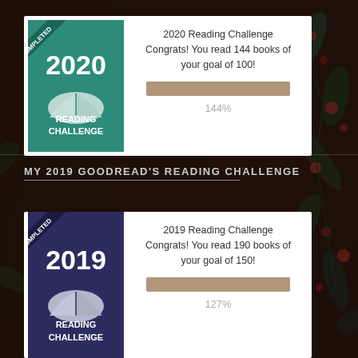[Figure (infographic): 2020 Goodreads Reading Challenge completed badge (teal/green) with open book icon and text READING CHALLENGE, alongside progress bar at 144%]
MY 2019 GOODREAD'S READING CHALLENGE
[Figure (infographic): 2019 Goodreads Reading Challenge completed badge (dark navy/indigo) with open book icon and text READING CHALLENGE, alongside progress bar at 127%]